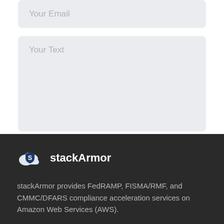Your Email
Your Text
Learn More
[Figure (logo): stackArmor logo: cloud icon with shield containing letter S, followed by bold text 'stackArmor' in white on dark background]
stackArmor provides FedRAMP, FISMA/RMF, and CMMC/DFARS compliance acceleration services on Amazon Web Services (AWS).